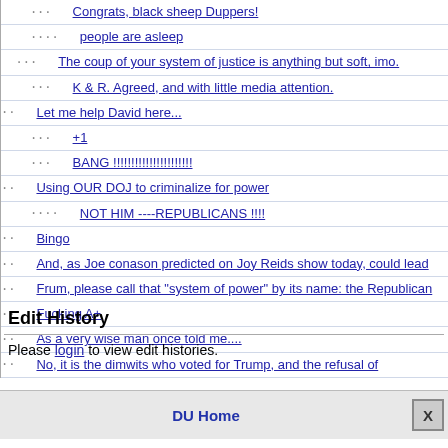Congrats, black sheep Duppers!
people are asleep
The coup of your system of justice is anything but soft, imo.
K & R. Agreed, and with little media attention.
Let me help David here...
+1
BANG !!!!!!!!!!!!!!!!!!!!!!
Using OUR DOJ to criminalize for power
NOT HIM ----REPUBLICANS !!!!
Bingo
And, as Joe conason predicted on Joy Reids show today, could lead
Frum, please call that "system of power" by its name: the Republican
Fucking A+
As a very wise man once told me....
No, it is the dimwits who voted for Trump, and the refusal of
Edit History
Please login to view edit histories.
DU Home